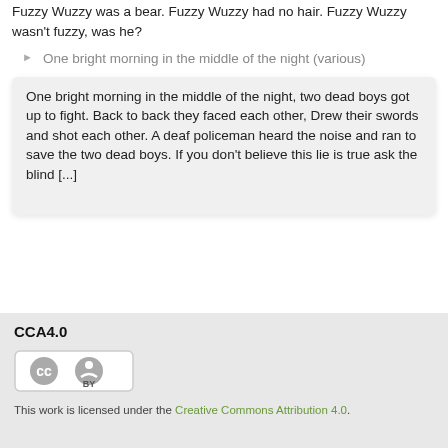Fuzzy Wuzzy was a bear. Fuzzy Wuzzy had no hair. Fuzzy Wuzzy wasn't fuzzy, was he?
One bright morning in the middle of the night (various)
One bright morning in the middle of the night, two dead boys got up to fight. Back to back they faced each other, Drew their swords and shot each other. A deaf policeman heard the noise and ran to save the two dead boys. If you don't believe this lie is true ask the blind [...]
CCA4.0
[Figure (logo): Creative Commons CC BY license badge showing cc and BY icons in a rounded rectangle]
This work is licensed under the Creative Commons Attribution 4.0.